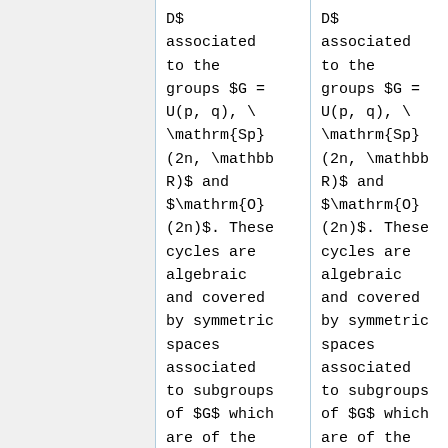D$ associated to the groups $G = U(p, q), \mathrm{Sp}(2n, \mathbb R)$ and $\mathrm{O}(2n)$. These cycles are algebraic and covered by symmetric spaces associated to subgroups of $G$ which are of the same type. Using the
D$ associated to the groups $G = U(p, q), \mathrm{Sp}(2n, \mathbb R)$ and $\mathrm{O}(2n)$. These cycles are algebraic and covered by symmetric spaces associated to subgroups of $G$ which are of the same type. Using the